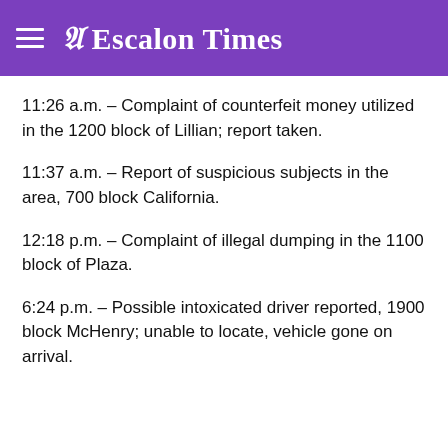Escalon Times
11:26 a.m. – Complaint of counterfeit money utilized in the 1200 block of Lillian; report taken.
11:37 a.m. – Report of suspicious subjects in the area, 700 block California.
12:18 p.m. – Complaint of illegal dumping in the 1100 block of Plaza.
6:24 p.m. – Possible intoxicated driver reported, 1900 block McHenry; unable to locate, vehicle gone on arrival.